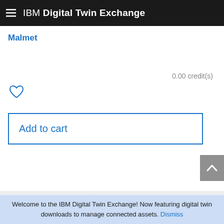IBM Digital Twin Exchange
Malmet
0.00 credit(s)
[Figure (illustration): Heart/favorite icon outline in blue]
Add to cart
[Figure (logo): magic tab logo with vertical bars and italic script text]
Welcome to the IBM Digital Twin Exchange! Now featuring digital twin downloads to manage connected assets. Dismiss